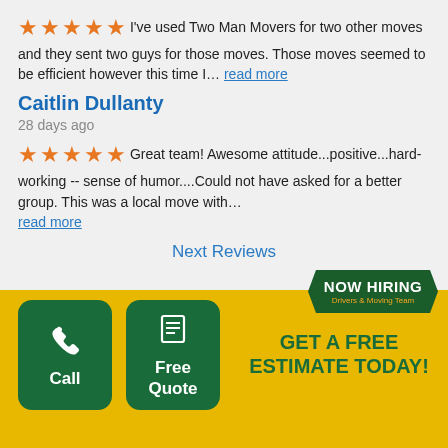I've used Two Man Movers for two other moves and they sent two guys for those moves. Those moves seemed to be efficient however this time I... read more
Caitlin Dullanty
28 days ago
Great team! Awesome attitude...positive...hard-working -- sense of humor....Could not have asked for a better group. This was a local move with... read more
Next Reviews
[Figure (infographic): NOW HIRING badge with green hexagonal shape. Text: NOW HIRING, Drivers & Moving Team]
Call
Free Quote
GET A FREE ESTIMATE TODAY!